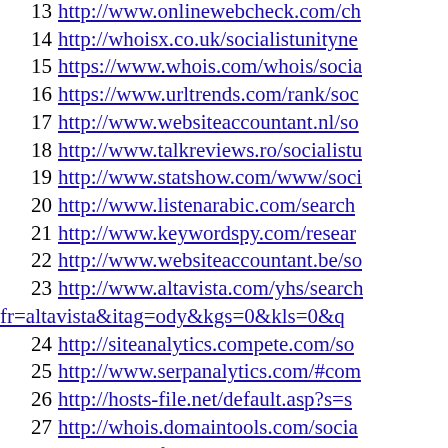13 http://www.onlinewebcheck.com/ch
14 http://whoisx.co.uk/socialistunityne
15 https://www.whois.com/whois/socia
16 https://www.urltrends.com/rank/soc
17 http://www.websiteaccountant.nl/so
18 http://www.talkreviews.ro/socialistu
19 http://www.statshow.com/www/soci
20 http://www.listenarabic.com/search
21 http://www.keywordspy.com/resear
22 http://www.websiteaccountant.be/so
23 http://www.altavista.com/yhs/search fr=altavista&itag=ody&kgs=0&kls=0&q
24 http://siteanalytics.compete.com/so
25 http://www.serpanalytics.com/#com
26 http://hosts-file.net/default.asp?s=s
27 http://whois.domaintools.com/socia
28 http://www.folkd.com/detail/socialistk
29 http://script3.prothemes.biz/socialis
30 http://www.who.is/whois/socialistun
31 http://www.websitedown.info/sociali
32 http://www.worthofweb.com/website
33 http://www.siteworthtraffic.com/repo
34 http://hqindex.org/socialistunitynetw
35 https://valueanalyze.com/show.php
36 http://www.domainwhoisinfo.com/s